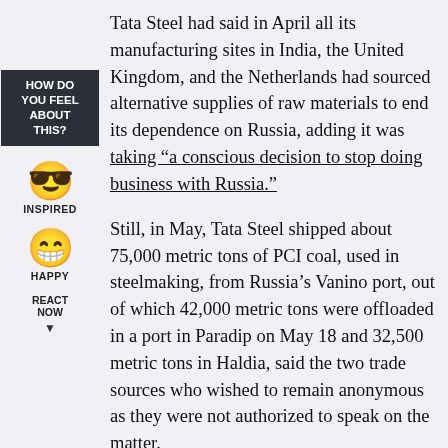Tata Steel had said in April all its manufacturing sites in India, the United Kingdom, and the Netherlands had sourced alternative supplies of raw materials to end its dependence on Russia, adding it was taking “a conscious decision to stop doing business with Russia.”
[Figure (illustration): HOW DO YOU FEEL ABOUT THIS? sidebar widget with INSPIRED emoji (grinning face with sunglasses) and HAPPY emoji (big grinning face), and REACT NOW button with down arrow]
Still, in May, Tata Steel shipped about 75,000 metric tons of PCI coal, used in steelmaking, from Russia’s Vanino port, out of which 42,000 metric tons were offloaded in a port in Paradip on May 18 and 32,500 metric tons in Haldia, said the two trade sources who wished to remain anonymous as they were not authorized to speak on the matter.
A spokesman for Tata Steel said the deal to import coal from Russia was made before the